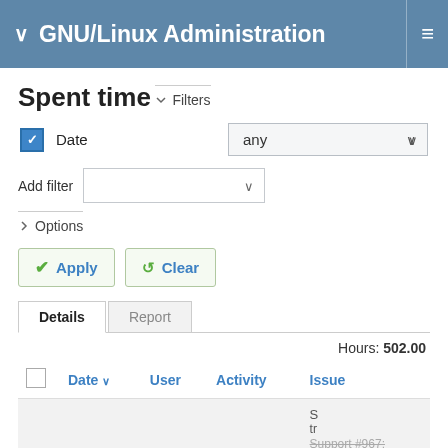GNU/Linux Administration
Spent time
Filters
Date  any
Add filter
Options
Apply  Clear
|  | Date ↓ | User | Activity | Issue |
| --- | --- | --- | --- | --- |
|  |  |  |  | Support #967: Linux |
Hours: 502.00